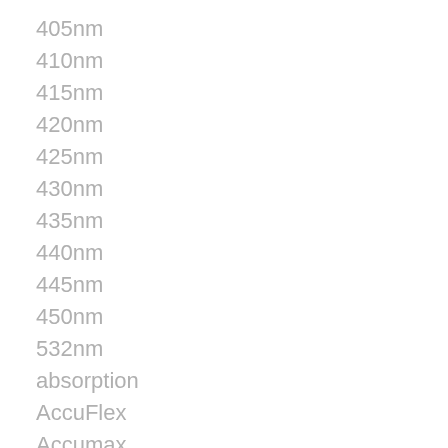405nm
410nm
415nm
420nm
425nm
430nm
435nm
440nm
445nm
450nm
532nm
absorption
AccuFlex
Accumax